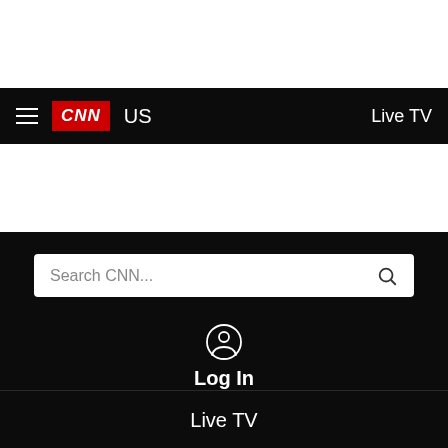[Figure (screenshot): CNN website navigation bar with hamburger menu, CNN logo in red, US label, and Live TV link on black background]
Search CNN...
Log In
Live TV